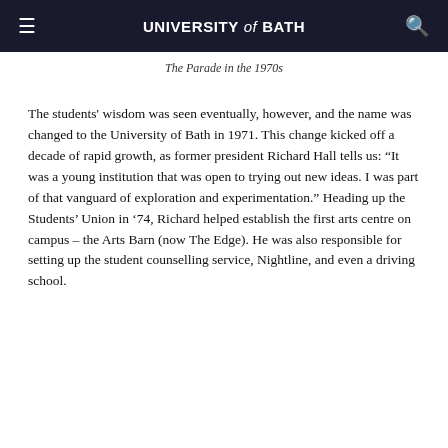UNIVERSITY of BATH
The Parade in the 1970s
The students' wisdom was seen eventually, however, and the name was changed to the University of Bath in 1971. This change kicked off a decade of rapid growth, as former president Richard Hall tells us: “It was a young institution that was open to trying out new ideas. I was part of that vanguard of exploration and experimentation.” Heading up the Students’ Union in ’74, Richard helped establish the first arts centre on campus – the Arts Barn (now The Edge). He was also responsible for setting up the student counselling service, Nightline, and even a driving school.